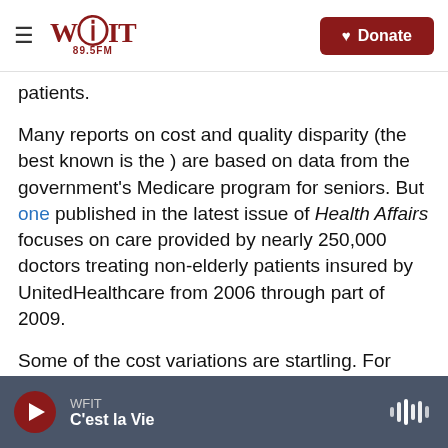WFIT 89.5FM | Donate
patients.
Many reports on cost and quality disparity (the best known is the ) are based on data from the government's Medicare program for seniors. But one published in the latest issue of Health Affairs focuses on care provided by nearly 250,000 doctors treating non-elderly patients insured by UnitedHealthcare from 2006 through part of 2009.
Some of the cost variations are startling. For treating a basic asthma episode, cases in the 10th percentile of distribution cost $98 each while those
WFIT | C'est la Vie